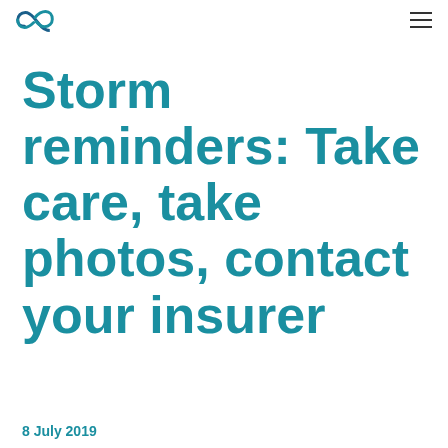[Figure (logo): Teal swirl/infinity loop logo mark in the top left corner]
Storm reminders: Take care, take photos, contact your insurer
8 July 2019